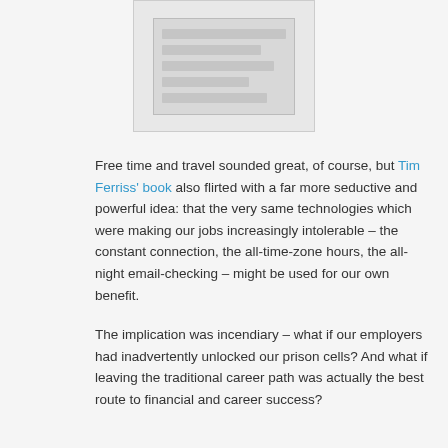[Figure (illustration): Book cover image thumbnail, partially visible at top center of page]
Free time and travel sounded great, of course, but Tim Ferriss’ book also flirted with a far more seductive and powerful idea: that the very same technologies which were making our jobs increasingly intolerable – the constant connection, the all-time-zone hours, the all-night email-checking – might be used for our own benefit.
The implication was incendiary – what if our employers had inadvertently unlocked our prison cells? And what if leaving the traditional career path was actually the best route to financial and career success?